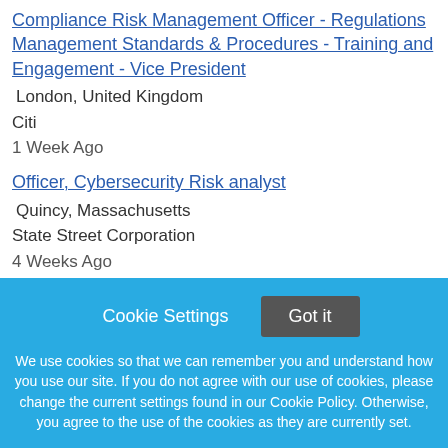Compliance Risk Management Officer - Regulations Management Standards & Procedures - Training and Engagement - Vice President
London, United Kingdom
Citi
1 Week Ago
Officer, Cybersecurity Risk analyst
Quincy, Massachusetts
State Street Corporation
4 Weeks Ago
Credit Risk Officer - VP
Cookie Settings  Got it

We use cookies so that we can remember you and understand how you use our site. If you do not agree with our use of cookies, please change the current settings found in our Cookie Policy. Otherwise, you agree to the use of the cookies as they are currently set.